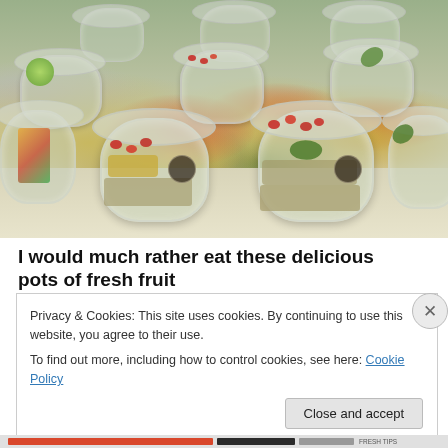[Figure (photo): Multiple clear plastic cups/pots filled with fresh fruit salad including pomegranate seeds, mango, lime slices, leafy greens, and grains, arranged on a white surface at a food display.]
I would much rather eat these delicious pots of fresh fruit
Privacy & Cookies: This site uses cookies. By continuing to use this website, you agree to their use.
To find out more, including how to control cookies, see here: Cookie Policy
Close and accept